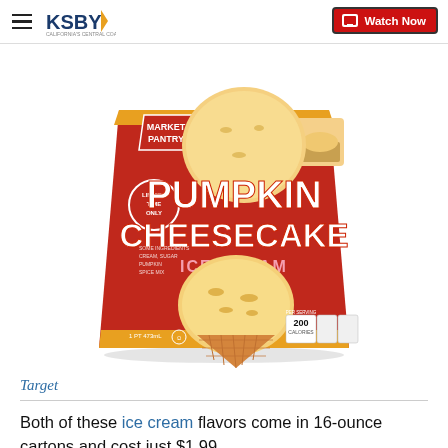KSBY California's Central Coast — Watch Now
[Figure (photo): Market Pantry Pumpkin Cheesecake Ice Cream carton (Limited Time) showing scoops of ice cream on a waffle cone, red carton with large white text, 200 calories label, 16oz container.]
Target
Both of these ice cream flavors come in 16-ounce cartons and cost just $1.99.